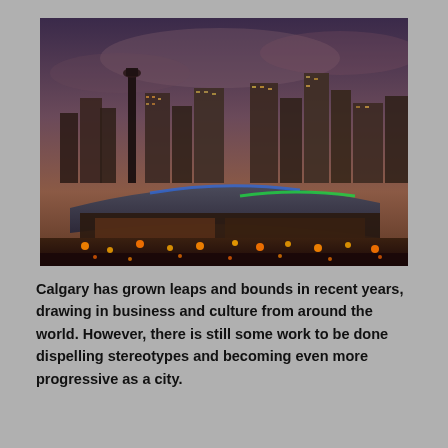[Figure (photo): Night/dusk skyline photo of Calgary, Alberta, showing the city's illuminated skyscrapers and a large domed arena structure in the foreground with orange and green lighting.]
Calgary has grown leaps and bounds in recent years, drawing in business and culture from around the world. However, there is still some work to be done dispelling stereotypes and becoming even more progressive as a city.